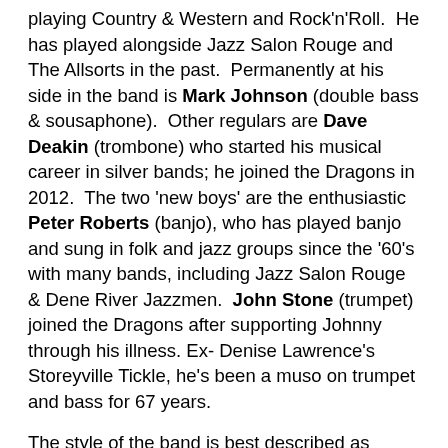playing Country & Western and Rock'n'Roll. He has played alongside Jazz Salon Rouge and The Allsorts in the past. Permanently at his side in the band is Mark Johnson (double bass & sousaphone). Other regulars are Dave Deakin (trombone) who started his musical career in silver bands; he joined the Dragons in 2012. The two 'new boys' are the enthusiastic Peter Roberts (banjo), who has played banjo and sung in folk and jazz groups since the '60's with many bands, including Jazz Salon Rouge & Dene River Jazzmen. John Stone (trumpet) joined the Dragons after supporting Johnny through his illness. Ex- Denise Lawrence's Storeyville Tickle, he's been a muso on trumpet and bass for 67 years.
The style of the band is best described as Dixieland. There are items from the 'Trad' repertoire but their developing repertoire also features some more unusual items from the Golden Era of jazz.